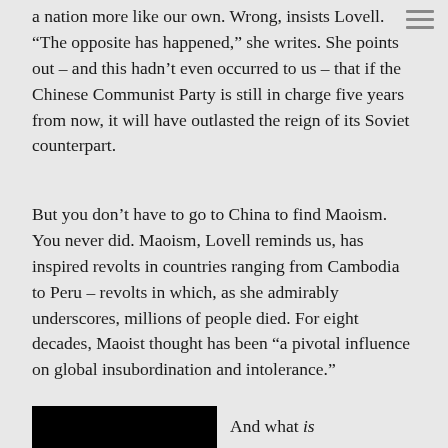a nation more like our own. Wrong, insists Lovell. “The opposite has happened,” she writes. She points out – and this hadn’t even occurred to us – that if the Chinese Communist Party is still in charge five years from now, it will have outlasted the reign of its Soviet counterpart.
But you don’t have to go to China to find Maoism. You never did. Maoism, Lovell reminds us, has inspired revolts in countries ranging from Cambodia to Peru – revolts in which, as she admirably underscores, millions of people died. For eight decades, Maoist thought has been “a pivotal influence on global insubordination and intolerance.”
And what is